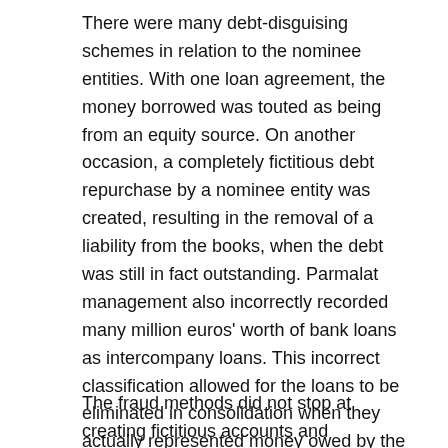There were many debt-disguising schemes in relation to the nominee entities. With one loan agreement, the money borrowed was touted as being from an equity source. On another occasion, a completely fictitious debt repurchase by a nominee entity was created, resulting in the removal of a liability from the books, when the debt was still in fact outstanding. Parmalat management also incorrectly recorded many million euros' worth of bank loans as intercompany loans. This incorrect classification allowed for the loans to be eliminated in consolidation when they actually represented money owed by the company to outsiders.
The fraud methods did not stop at creating fictitious accounts and documents, or even with establishing nonexistent foreign nominee entities and hiding ties. Calisto Tanzi and other management were tigated by Italian authorities for manipulating the Milan stock market. On December 20, 1999, Parmalat's